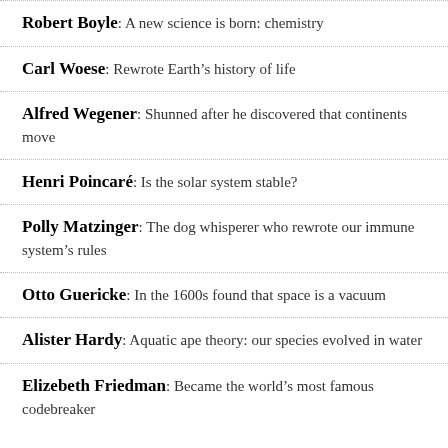Robert Boyle: A new science is born: chemistry
Carl Woese: Rewrote Earth's history of life
Alfred Wegener: Shunned after he discovered that continents move
Henri Poincaré: Is the solar system stable?
Polly Matzinger: The dog whisperer who rewrote our immune system's rules
Otto Guericke: In the 1600s found that space is a vacuum
Alister Hardy: Aquatic ape theory: our species evolved in water
Elizebeth Friedman: Became the world's most famous codebreaker